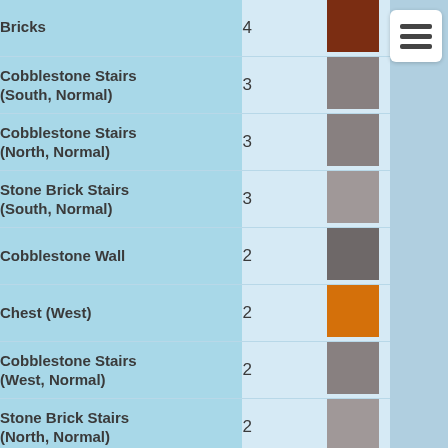| Item | Count | Color |
| --- | --- | --- |
| Bricks | 4 |  |
| Cobblestone Stairs (South, Normal) | 3 | gray |
| Cobblestone Stairs (North, Normal) | 3 | gray |
| Stone Brick Stairs (South, Normal) | 3 | light gray |
| Cobblestone Wall | 2 | dark gray |
| Chest (West) | 2 | orange |
| Cobblestone Stairs (West, Normal) | 2 | gray |
| Stone Brick Stairs (North, Normal) | 2 | light gray |
| Cobblestone Stairs (South, Upside-down) | 2 | gray |
| Wall Sign, south | 2 |  |